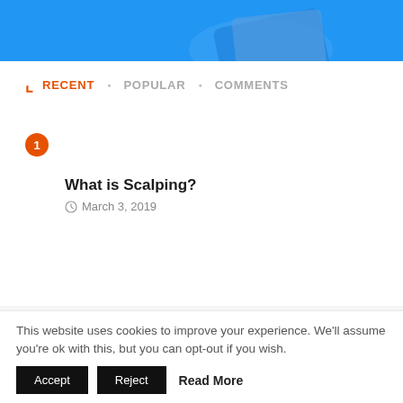[Figure (illustration): Blue banner with hand holding credit/debit card illustration]
RECENT • POPULAR • COMMENTS
1 — What is Scalping? — March 3, 2019
2 — What documents do we need to...
This website uses cookies to improve your experience. We'll assume you're ok with this, but you can opt-out if you wish.
Accept | Reject | Read More